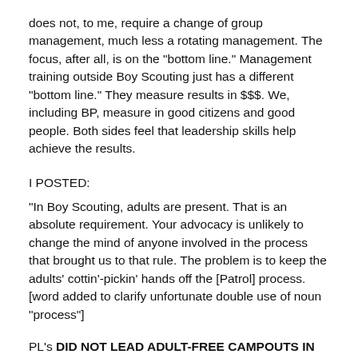does not, to me, require a change of group management, much less a rotating management. The focus, after all, is on the "bottom line." Management training outside Boy Scouting just has a different "bottom line." They measure results in $$$. We, including BP, measure in good citizens and good people. Both sides feel that leadership skills help achieve the results.
I POSTED:
"In Boy Scouting, adults are present. That is an absolute requirement. Your advocacy is unlikely to change the mind of anyone involved in the process that brought us to that rule. The problem is to keep the adults' cottin'-pickin' hands off the [Patrol] process. [word added to clarify unfortunate double use of noun "process"]
PL's DID NOT LEAD ADULT-FREE CAMPOUTS IN 1954 WHEN I BECAME A SCOUT. They did run sorta' adult-free Patrol meetings each and every week (Mom was usually somewhere in the background and would respond to serious crashes.). But